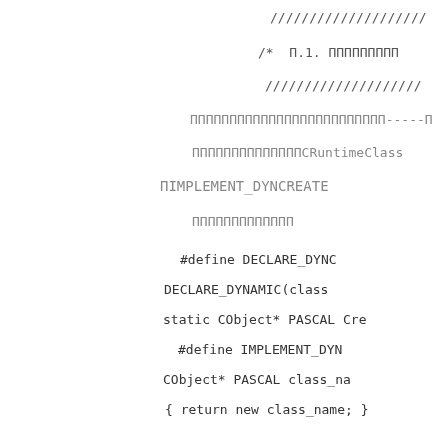////////////////////
/*  Π.1. ΠΠΠΠΠΠΠΠΠ
////////////////////
ΠΠΠΠΠΠΠΠΠΠΠΠΠΠΠΠΠΠΠΠΠΠΠΠΠ-----Π
ΠΠΠΠΠΠΠΠΠΠΠΠΠΠCRuntimeClass
ΠIMPLEMENT_DYNCREATE
ΠΠΠΠΠΠΠΠΠΠΠΠΠ
#define DECLARE_DYNC
DECLARE_DYNAMIC(class
static CObject* PASCAL Cre
#define IMPLEMENT_DYN
CObject* PASCAL class_na
{ return new class_name; }
IMPLEMENT_RUNTIMECLA
class_name::CreateObject,
ΠΠΠΠΠΠΠΠΠΠΠΠΠΠΠΠΠΠΠΠΠΠΠΠΠ
////////////////////